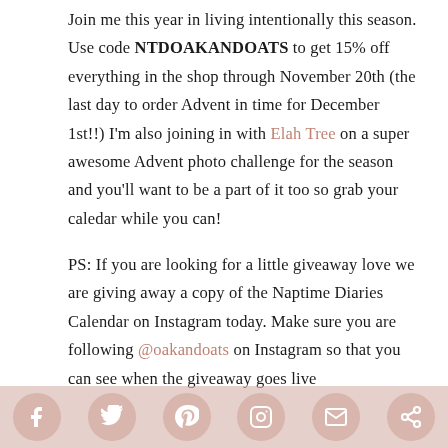Join me this year in living intentionally this season. Use code NTDOAKANDOATS to get 15% off everything in the shop through November 20th (the last day to order Advent in time for December 1st!!) I'm also joining in with Elah Tree on a super awesome Advent photo challenge for the season and you'll want to be a part of it too so grab your caledar while you can!

PS: If you are looking for a little giveaway love we are giving away a copy of the Naptime Diaries Calendar on Instagram today. Make sure you are following @oakandoats on Instagram so that you can see when the giveaway goes live
[Figure (infographic): Social sharing bar with icons for Facebook, Twitter, Pinterest, Instagram, Email, and Share]